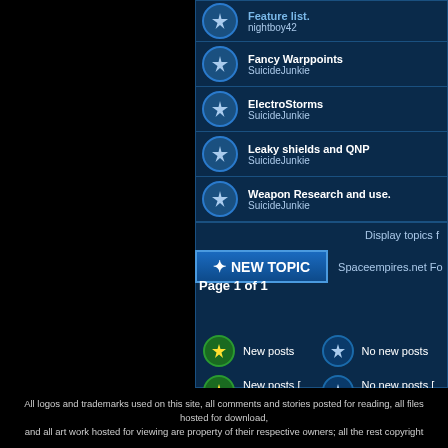Feature list
nightboy42
Fancy Warppoints
SuicideJunkie
ElectroStorms
SuicideJunkie
Leaky shields and QNP
SuicideJunkie
Weapon Research and use.
SuicideJunkie
Display topics f
* NEW TOPIC    Spaceempires.net Fo
Page 1 of 1
New posts
No new posts
New posts [ Popular ]
No new posts [ Po
New posts [ Locked ]
No new posts [ Lo
All logos and trademarks used on this site, all comments and stories posted for reading, all files hosted for download,
and all art work hosted for viewing are property of their respective owners; all the rest copyright